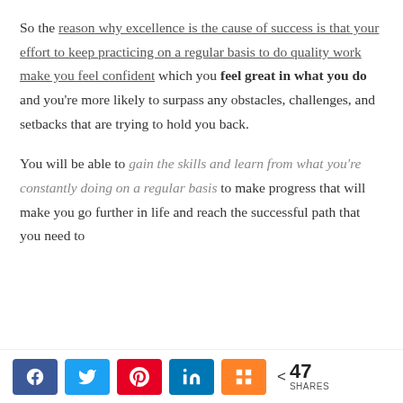So the reason why excellence is the cause of success is that your effort to keep practicing on a regular basis to do quality work make you feel confident which you feel great in what you do and you're more likely to surpass any obstacles, challenges, and setbacks that are trying to hold you back.
You will be able to gain the skills and learn from what you're constantly doing on a regular basis to make progress that will make you go further in life and reach the successful path that you need to
< 47 SHARES